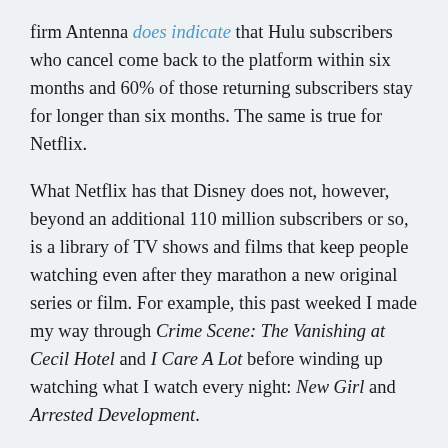firm Antenna does indicate that Hulu subscribers who cancel come back to the platform within six months and 60% of those returning subscribers stay for longer than six months. The same is true for Netflix.
What Netflix has that Disney does not, however, beyond an additional 110 million subscribers or so, is a library of TV shows and films that keep people watching even after they marathon a new original series or film. For example, this past weeked I made my way through Crime Scene: The Vanishing at Cecil Hotel and I Care A Lot before winding up watching what I watch every night: New Girl and Arrested Development.
I don't have kids, and I'm not always in the mood to watch a Disney Channel original, a Pixar, or a Marvel movie. Netflix doesn't have to try and serve me